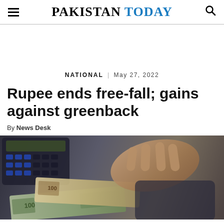Pakistan Today
NATIONAL   May 27, 2022
Rupee ends free-fall; gains against greenback
By News Desk
[Figure (photo): A person's hand holding and counting currency notes including US dollars, with a calculator in the background on a dark surface.]